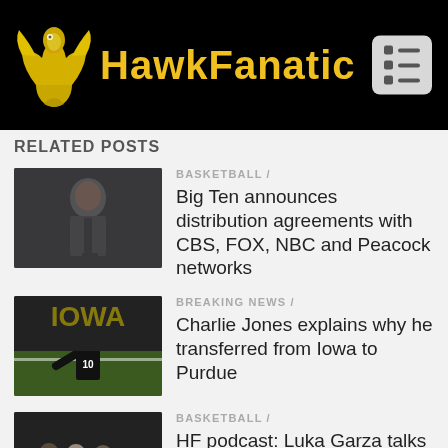HawkFanatic
RELATED POSTS
[Figure (photo): Man in suit speaking at podium]
BASKETBALL /
Big Ten announces distribution agreements with CBS, FOX, NBC and Peacock networks
[Figure (photo): Football player on field]
BREAKING NEWS /
Charlie Jones explains why he transferred from Iowa to Purdue
[Figure (photo): People at an award ceremony]
BASKETBALL /
HF podcast: Luka Garza talks about his upcoming skills camps, and his NBA career